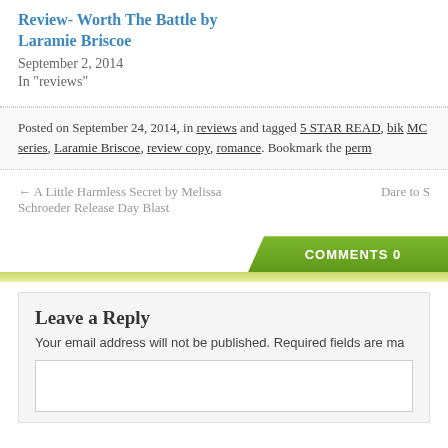Review- Worth The Battle by Laramie Briscoe
September 2, 2014
In "reviews"
Posted on September 24, 2014, in reviews and tagged 5 STAR READ, bik MC series, Laramie Briscoe, review copy, romance. Bookmark the perm
← A Little Harmless Secret by Melissa Schroeder Release Day Blast
Dare to S
COMMENTS 0
Leave a Reply
Your email address will not be published. Required fields are ma